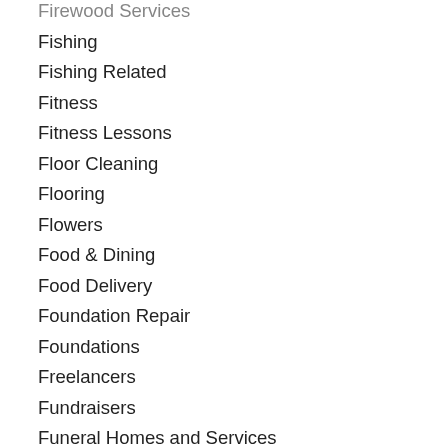Firewood Services
Fishing
Fishing Related
Fitness
Fitness Lessons
Floor Cleaning
Flooring
Flowers
Food & Dining
Food Delivery
Foundation Repair
Foundations
Freelancers
Fundraisers
Funeral Homes and Services
Furnaces